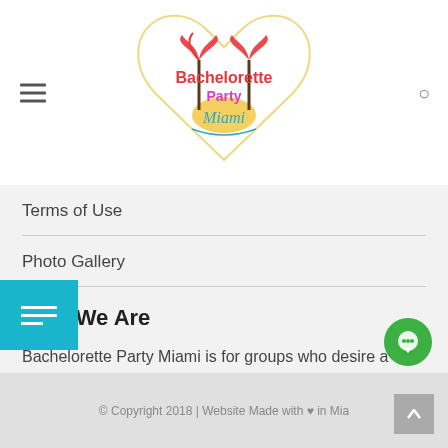[Figure (logo): Bachelorette Party Miami logo with pink palm trees and cursive text on a heart shape]
Terms of Use
Photo Gallery
Who We Are
Bachelorette Party Miami is for groups who desire a stress-free destination bachelorette party.
Learn more!
© Copyright 2018 | Website Made with ♥ in Mia...